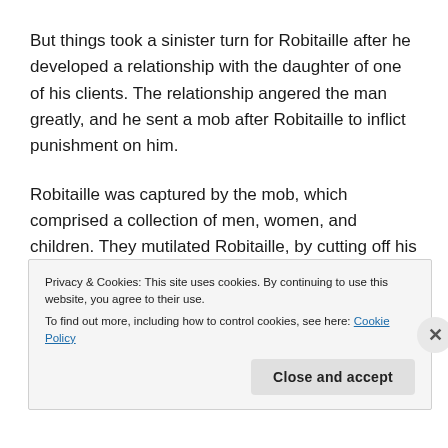But things took a sinister turn for Robitaille after he developed a relationship with the daughter of one of his clients. The relationship angered the man greatly, and he sent a mob after Robitaille to inflict punishment on him.
Robitaille was captured by the mob, which comprised a collection of men, women, and children. They mutilated Robitaille, by cutting off his right hand, then they covered him in honey, leaving him to be stung to death by bees.
But death did not take Robitaille, and his soul was transferred into a mirror. He then became a hook-
Privacy & Cookies: This site uses cookies. By continuing to use this website, you agree to their use.
To find out more, including how to control cookies, see here: Cookie Policy